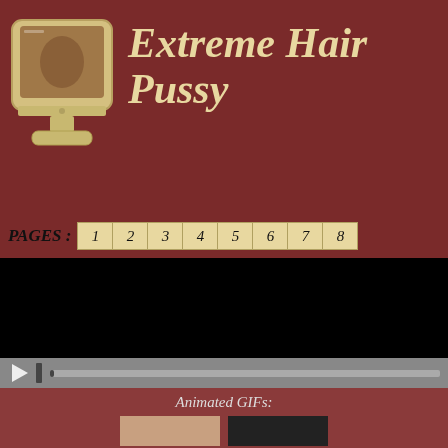Extreme Hairy Pussy
[Figure (screenshot): Monitor icon showing a thumbnail image on screen with beige/tan colored monitor frame and stand]
PAGES : 1 2 3 4 5 6 7 8
[Figure (screenshot): Black video player area with playback controls at bottom including play button and progress bar]
Animated GIFs:
[Figure (photo): Two thumbnail images visible at bottom of page]